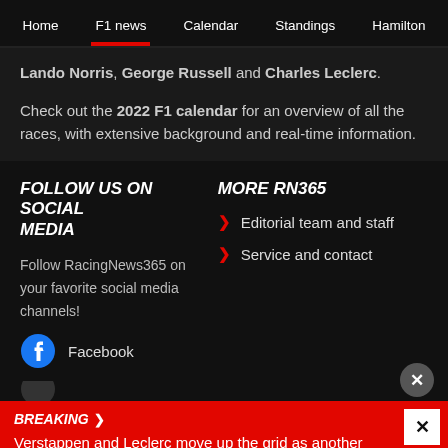Home | F1 news | Calendar | Standings | Hamilton
Lando Norris, George Russell and Charles Leclerc.
Check out the 2022 F1 calendar for an overview of all the races, with extensive background and real-time information.
FOLLOW US ON SOCIAL MEDIA
Follow RacingNews365 on your favorite social media channels!
MORE RN365
Editorial team and staff
Service and contact
Facebook
BREAKING › Verstappen and Leclerc move up the grid as another driver gets penalised